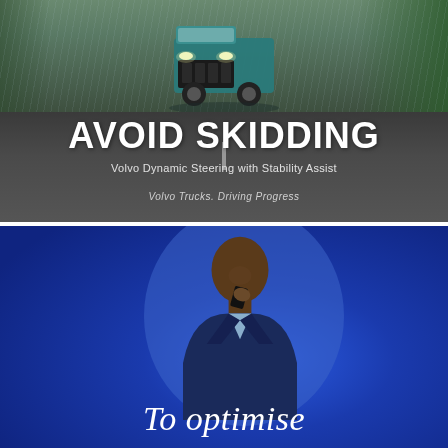[Figure (photo): Volvo truck driving on wet road in rain with trees in background. Text overlay: AVOID SKIDDING, Volvo Dynamic Steering with Stability Assist, Volvo Trucks. Driving Progress]
[Figure (photo): Blue background advertisement with a man in a suit talking on a phone, smiling. Circular blue gradient behind him. Text overlay: To optimise]